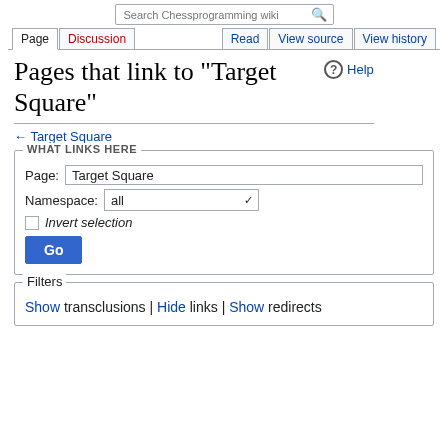Search Chessprogramming wiki | Page | Discussion | Read | View source | View history
Pages that link to "Target Square"
← Target Square
WHAT LINKS HERE
Page: Target Square
Namespace: all
Invert selection
Go
Filters
Show transclusions | Hide links | Show redirects